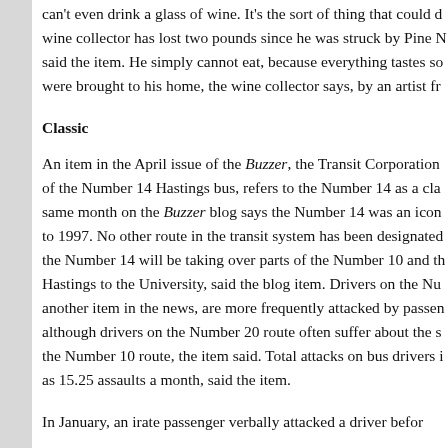can't even drink a glass of wine. It's the sort of thing that could d... wine collector has lost two pounds since he was struck by Pine N... said the item. He simply cannot eat, because everything tastes so... were brought to his home, the wine collector says, by an artist fr...
Classic
An item in the April issue of the Buzzer, the Transit Corporation of the Number 14 Hastings bus, refers to the Number 14 as a cla... same month on the Buzzer blog says the Number 14 was an icon to 1997. No other route in the transit system has been designated the Number 14 will be taking over parts of the Number 10 and th... Hastings to the University, said the blog item. Drivers on the Nu... another item in the news, are more frequently attacked by passen... although drivers on the Number 20 route often suffer about the s... the Number 10 route, the item said. Total attacks on bus drivers i... as 15.25 assaults a month, said the item.
In January, an irate passenger verbally attacked a driver befor...